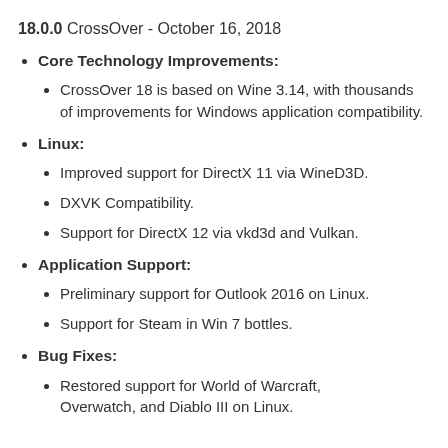18.0.0 CrossOver - October 16, 2018
Core Technology Improvements:
CrossOver 18 is based on Wine 3.14, with thousands of improvements for Windows application compatibility.
Linux:
Improved support for DirectX 11 via WineD3D.
DXVK Compatibility.
Support for DirectX 12 via vkd3d and Vulkan.
Application Support:
Preliminary support for Outlook 2016 on Linux.
Support for Steam in Win 7 bottles.
Bug Fixes:
Restored support for World of Warcraft, Overwatch, and Diablo III on Linux.